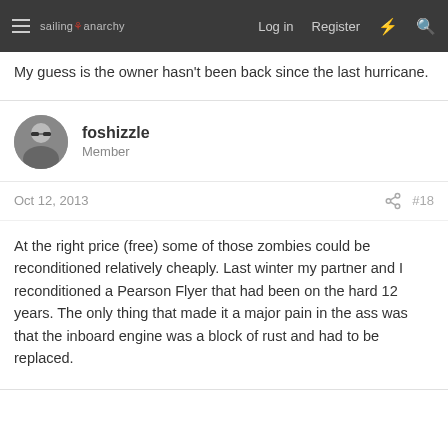sailing anarchy  Log in  Register
My guess is the owner hasn't been back since the last hurricane.
foshizzle
Member
Oct 12, 2013  #18
At the right price (free) some of those zombies could be reconditioned relatively cheaply. Last winter my partner and I reconditioned a Pearson Flyer that had been on the hard 12 years. The only thing that made it a major pain in the ass was that the inboard engine was a block of rust and had to be replaced.